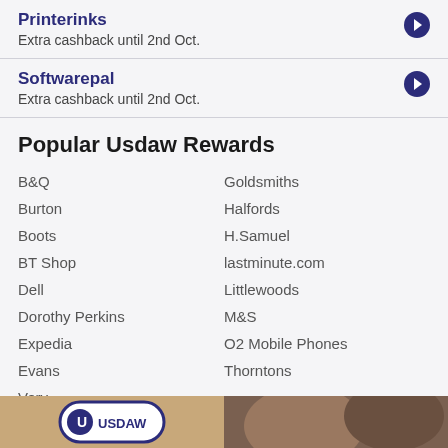Printerinks
Extra cashback until 2nd Oct.
Softwarepal
Extra cashback until 2nd Oct.
Popular Usdaw Rewards
B&Q
Goldsmiths
Burton
Halfords
Boots
H.Samuel
BT Shop
lastminute.com
Dell
Littlewoods
Dorothy Perkins
M&S
Expedia
O2 Mobile Phones
Evans
Thorntons
Very
Vodafone
[Figure (photo): Bottom banner showing USDAW logo and a photo]